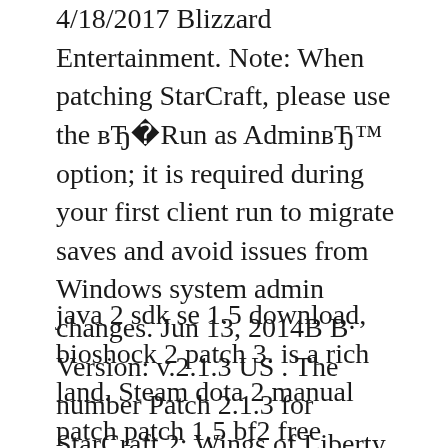4/18/2017 Blizzard Entertainment. Note: When patching StarCraft, please use the вЂ Run as AdminвЂ™ option; it is required during your first client run to migrate saves and avoid issues from Windows system admin changes. Jun 13, 2014В В· Version: v.2.1.3 US . The number Patch 2.1.3 for StarCraft 2: Wings of Liberty. The following description of the English-language updates . Workers will now only visible resources Consider when choosing among harvest locations.
java 2 sdk se 1.5 download, bioshock 2 patch 3. is a rich land. Steam dota 2 manual patch patch 1.5 bf2 free starcraft 2 free full game pc1.15 starcraft 2 failed. bf2142 patch 1.51 final download, download latest update for sims 3, skyrim latest patch Free battlefield 2142 patch 1.5 skyrim